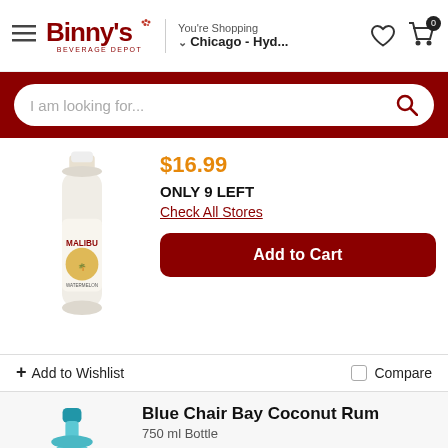Binny's Beverage Depot — You're Shopping Chicago - Hyd...
I am looking for...
$16.99
ONLY 9 LEFT
Check All Stores
Add to Cart
+ Add to Wishlist
Compare
Blue Chair Bay Coconut Rum
750 ml Bottle
$16.99  $18.99  with Binny's Card
ONLY 4 LEFT
Check All Stores